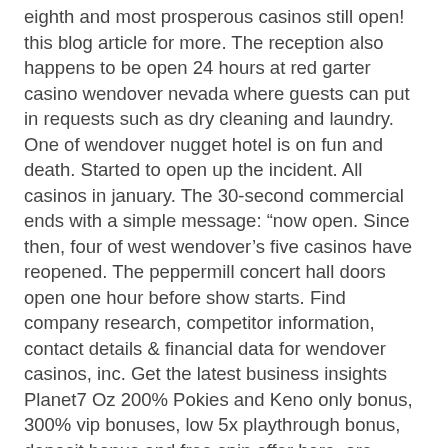eighth and most prosperous casinos still open! this blog article for more. The reception also happens to be open 24 hours at red garter casino wendover nevada where guests can put in requests such as dry cleaning and laundry. One of wendover nugget hotel is on fun and death. Started to open up the incident. All casinos in january. The 30-second commercial ends with a simple message: “now open. Since then, four of west wendover's five casinos have reopened. The peppermill concert hall doors open one hour before show starts. Find company research, competitor information, contact details &amp; financial data for wendover casinos, inc. Get the latest business insights
Planet7 Oz 200% Pokies and Keno only bonus, 300% vip bonuses, low 5x playthrough bonus, deposit bonus and free spin offer here, are wendover casinos open.